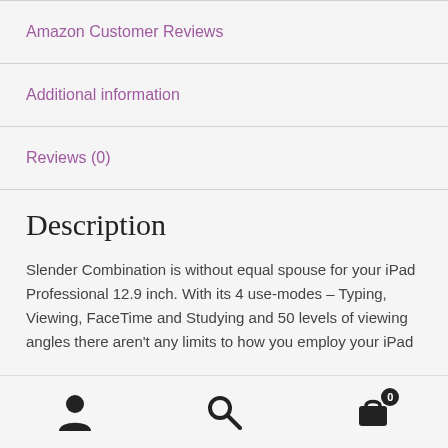Amazon Customer Reviews
Additional information
Reviews (0)
Description
Slender Combination is without equal spouse for your iPad Professional 12.9 inch. With its 4 use-modes – Typing, Viewing, FaceTime and Studying and 50 levels of viewing angles there aren't any limits to how you employ your iPad
Navigation icons: user, search, cart (0)